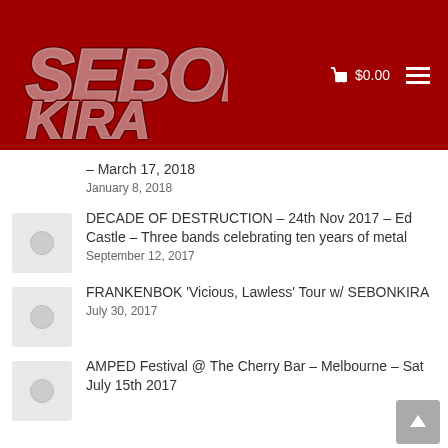SEBONKIRA — $0.00
– March 17, 2018
January 8, 2018
DECADE OF DESTRUCTION – 24th Nov 2017 – Ed Castle – Three bands celebrating ten years of metal
September 12, 2017
FRANKENBOK 'Vicious, Lawless' Tour w/ SEBONKIRA
July 30, 2017
AMPED Festival @ The Cherry Bar – Melbourne – Sat July 15th 2017